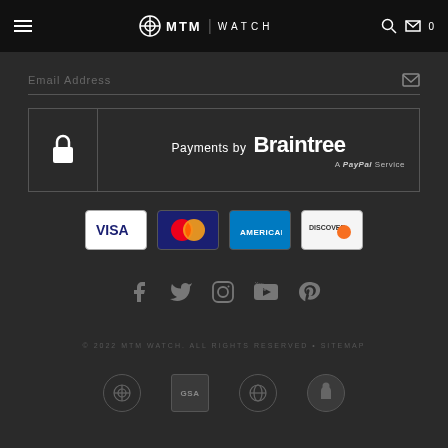MTM | WATCH
Email Address
[Figure (screenshot): Payments by Braintree - A PayPal Service, with lock icon]
[Figure (infographic): Payment method logos: VISA, Mastercard, American Express, Discover]
[Figure (infographic): Social media icons: Facebook, Twitter, Instagram, YouTube, Pinterest]
© 2022 MTM WATCH. ALL RIGHTS RESERVED • SITEMAP
[Figure (infographic): Four trust/certification badge logos at bottom of page]